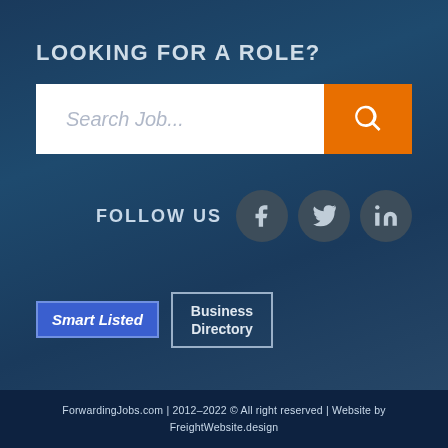LOOKING FOR A ROLE?
[Figure (screenshot): Search job input bar with white background and orange search button on the right]
FOLLOW US
[Figure (infographic): Three circular social media icons: Facebook (f), Twitter (bird), LinkedIn (in)]
[Figure (logo): Smart Listed badge (blue with border) and Business Directory badge (outlined)]
ForwardingJobs.com | 2012–2022 © All right reserved | Website by FreightWebsite.design